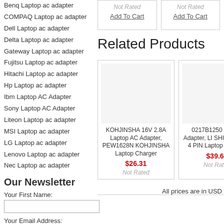Benq Laptop ac adapter
COMPAQ Laptop ac adapter
Dell Laptop ac adapter
Delta Laptop ac adapter
Gateway Laptop ac adapter
Fujitsu Laptop ac adapter
Hitachi Laptop ac adapter
Hp Laptop ac adapter
Ibm Laptop AC Adapter
Sony Laptop AC Adapter
Liteon Laptop ac adapter
MSI Laptop ac adapter
LG Laptop ac adapter
Lenovo Laptop ac adapter
Nec Laptop ac adapter
Our Newsletter
Your First Name:
Your Email Address:
subscribe me
Not Rated
Add To Cart
Not Rated
Add To Cart
Related Products
KOHJINSHA 16V 2.8A Laptop AC Adapter, PEW1628N KOHJINSHA Laptop Charger
$26.31
Not Rated
0217B1250 Laptop Adapter, LI SHIN 1 4.16A 4 PIN Laptop Charger
$39.62
Not Rated
All prices are in USD